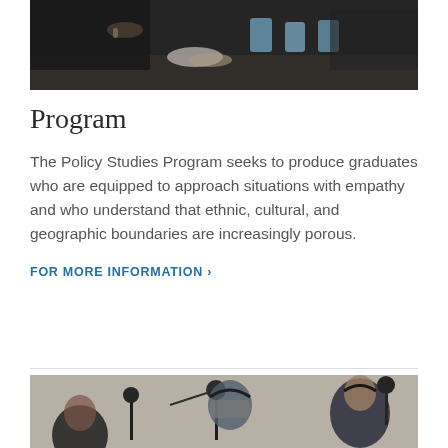[Figure (photo): People gathered around a table eating and talking, viewed from the side, with blue cups and plates visible.]
Program
The Policy Studies Program seeks to produce graduates who are equipped to approach situations with empathy and who understand that ethnic, cultural, and geographic boundaries are increasingly porous.
FOR MORE INFORMATION ›
[Figure (photo): People in a recording studio setting with microphones; one person wearing a mask and headphones, another person in a suit with headphones.]